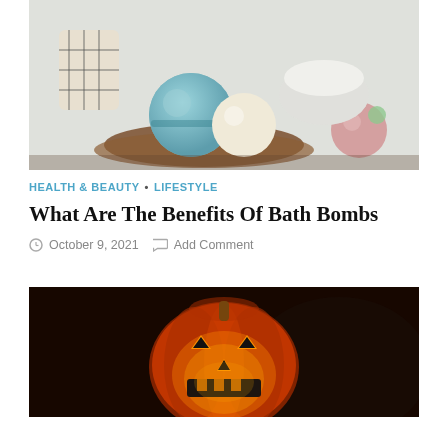[Figure (photo): Bath bombs on a wooden tray with rolled towels in the background]
HEALTH & BEAUTY • LIFESTYLE
What Are The Benefits Of Bath Bombs
October 9, 2021  Add Comment
[Figure (photo): Glowing jack-o-lantern pumpkin on dark background]